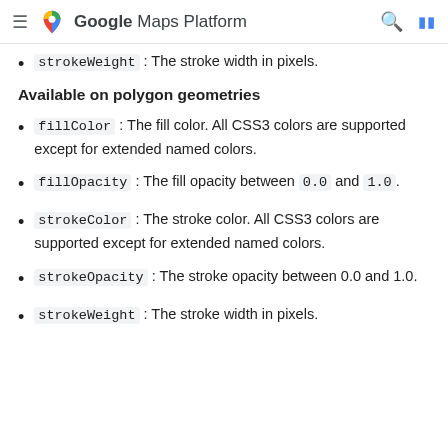Google Maps Platform
strokeWeight : The stroke width in pixels.
Available on polygon geometries
fillColor : The fill color. All CSS3 colors are supported except for extended named colors.
fillOpacity : The fill opacity between 0.0 and 1.0.
strokeColor : The stroke color. All CSS3 colors are supported except for extended named colors.
strokeOpacity : The stroke opacity between 0.0 and 1.0.
strokeWeight : The stroke width in pixels.